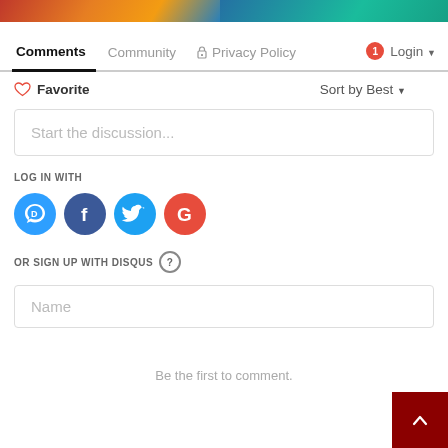[Figure (photo): Two cropped photos at top of page — left shows people in colorful scene, right shows person in blue scene]
Comments  Community  🔒 Privacy Policy  1  Login ▼
♡ Favorite    Sort by Best ▼
Start the discussion...
LOG IN WITH
[Figure (logo): Social login icons: Disqus (blue speech bubble D), Facebook (dark blue F), Twitter (light blue bird), Google (red G)]
OR SIGN UP WITH DISQUS ?
Name
Be the first to comment.